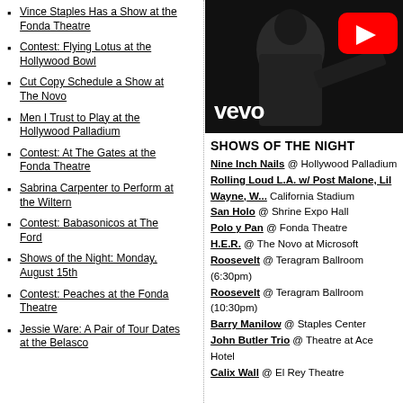Vince Staples Has a Show at the Fonda Theatre
Contest: Flying Lotus at the Hollywood Bowl
Cut Copy Schedule a Show at The Novo
Men I Trust to Play at the Hollywood Palladium
Contest: At The Gates at the Fonda Theatre
Sabrina Carpenter to Perform at the Wiltern
Contest: Babasonicos at The Ford
Shows of the Night: Monday, August 15th
Contest: Peaches at the Fonda Theatre
Jessie Ware: A Pair of Tour Dates at the Belasco
[Figure (screenshot): YouTube/Vevo video thumbnail showing a performer in black and white with YouTube play button overlay and 'vevo' text]
SHOWS OF THE NIGHT
Nine Inch Nails @ Hollywood Palladium
Rolling Loud L.A. w/ Post Malone, Lil Wayne, W... California Stadium
San Holo @ Shrine Expo Hall
Polo y Pan @ Fonda Theatre
H.E.R. @ The Novo at Microsoft
Roosevelt @ Teragram Ballroom (6:30pm)
Roosevelt @ Teragram Ballroom (10:30pm)
Barry Manilow @ Staples Center
John Butler Trio @ Theatre at Ace Hotel
Calix Wall @ El Rey Theatre